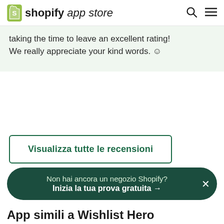shopify app store
taking the time to leave an excellent rating! We really appreciate your kind words. 🙂
Visualizza tutte le recensioni
Non hai ancora un negozio Shopify? Inizia la tua prova gratuita →
App simili a Wishlist Hero